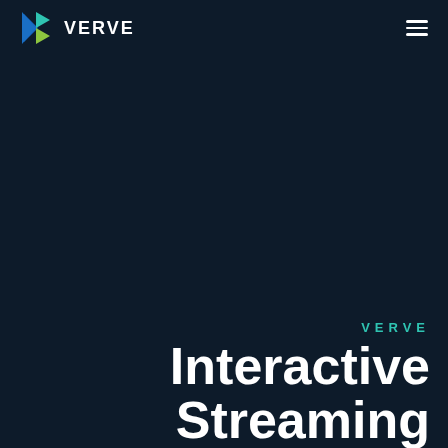[Figure (logo): Verve logo: a multi-colored chevron/arrow icon (blue, teal, yellow-green) followed by the word VERVE in white bold caps]
VERVE
VERVE
Interactive Streaming